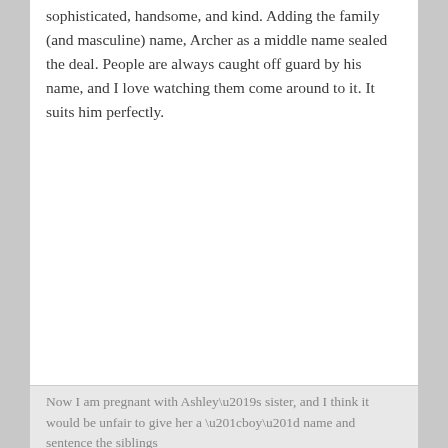sophisticated, handsome, and kind. Adding the family (and masculine) name, Archer as a middle name sealed the deal. People are always caught off guard by his name, and I love watching them come around to it. It suits him perfectly.
Now I am pregnant with Ashley’s sister, and I think it would be unfair to give her a “boy” name and sentence the siblings